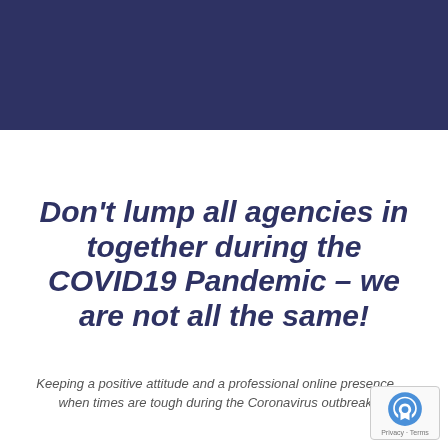[Figure (other): Dark navy blue rectangular banner/header block at the top of the page]
Don't lump all agencies in together during the COVID19 Pandemic – we are not all the same!
Keeping a positive attitude and a professional online presence, when times are tough during the Coronavirus outbreak.
[Figure (logo): Google reCAPTCHA badge in bottom right corner with logo icon and Privacy · Terms links]